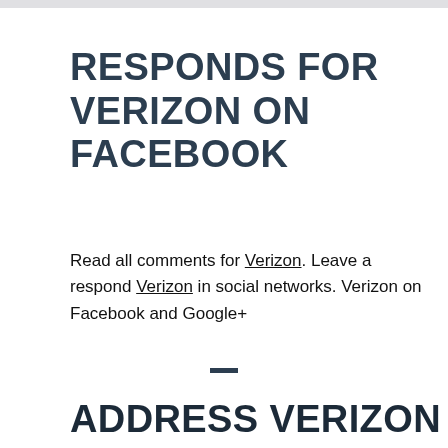RESPONDS FOR VERIZON ON FACEBOOK
Read all comments for Verizon. Leave a respond Verizon in social networks. Verizon on Facebook and Google+
[Figure (other): Small horizontal divider bar]
ADDRESS VERIZON ON